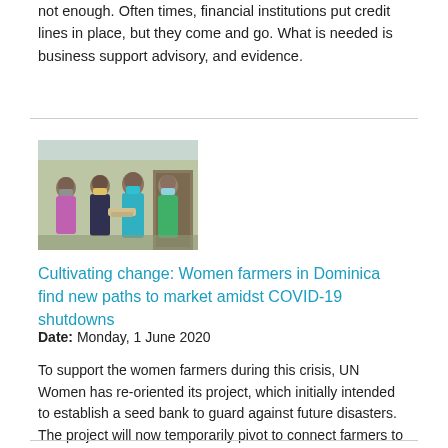not enough. Often times, financial institutions put credit lines in place, but they come and go. What is needed is business support advisory, and evidence.
[Figure (photo): Group of women farmers wearing face masks, standing together outdoors, exchanging or handling items.]
Cultivating change: Women farmers in Dominica find new paths to market amidst COVID-19 shutdowns
Date: Monday, 1 June 2020
To support the women farmers during this crisis, UN Women has re-oriented its project, which initially intended to establish a seed bank to guard against future disasters. The project will now temporarily pivot to connect farmers to new outlets and market opportunities.